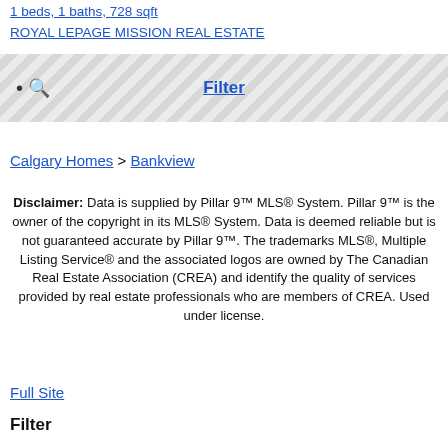1 beds, 1 baths, 728 sqft
ROYAL LEPAGE MISSION REAL ESTATE
[Figure (screenshot): Search icon with diagonal striped background and Filter button]
Calgary Homes > Bankview
Disclaimer: Data is supplied by Pillar 9™ MLS® System. Pillar 9™ is the owner of the copyright in its MLS® System. Data is deemed reliable but is not guaranteed accurate by Pillar 9™. The trademarks MLS®, Multiple Listing Service® and the associated logos are owned by The Canadian Real Estate Association (CREA) and identify the quality of services provided by real estate professionals who are members of CREA. Used under license.
Full Site
Filter